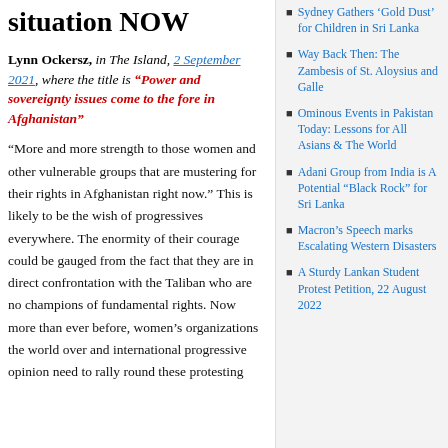situation NOW
Lynn Ockersz, in The Island, 2 September 2021, where the title is "Power and sovereignty issues come to the fore in Afghanistan"
“More and more strength to those women and other vulnerable groups that are mustering for their rights in Afghanistan right now.” This is likely to be the wish of progressives everywhere. The enormity of their courage could be gauged from the fact that they are in direct confrontation with the Taliban who are no champions of fundamental rights. Now more than ever before, women’s organizations the world over and international progressive opinion need to rally round these protesting
Sydney Gathers ‘Gold Dust’ for Children in Sri Lanka
Way Back Then: The Zambesis of St. Aloysius and Galle
Ominous Events in Pakistan Today: Lessons for All Asians & The World
Adani Group from India is A Potential “Black Rock” for Sri Lanka
Macron’s Speech marks Escalating Western Disasters
A Sturdy Lankan Student Protest Petition, 22 August 2022